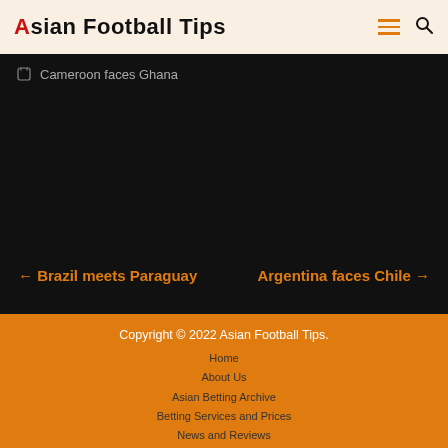Asian Football Tips
Cameroon faces Ghana
← Brazil meets Paraguay
Argentina faces Chile →
Copyright © 2022 Asian Football Tips.
Home
About Us
Asian Betting Archive
Betting Services and Prices
News and Reviews
Privacy and Cookie Policy
Terms and Conditions